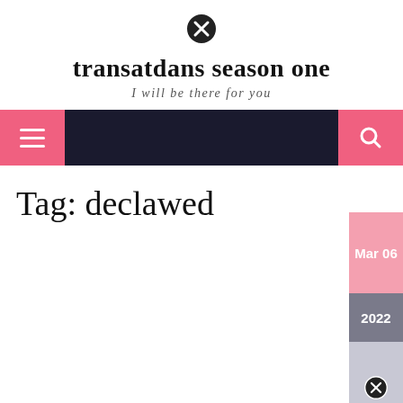[Figure (other): Close/X icon circle at top center of page]
transatdans season one
I will be there for you
[Figure (other): Navigation bar with dark background, pink hamburger menu button on left and pink search button on right]
Tag: declawed
[Figure (other): Pink date card showing Mar 06 and gray year card showing 2022, with a partial thumbnail image below]
[Figure (other): Small close/X icon circle at bottom right area]